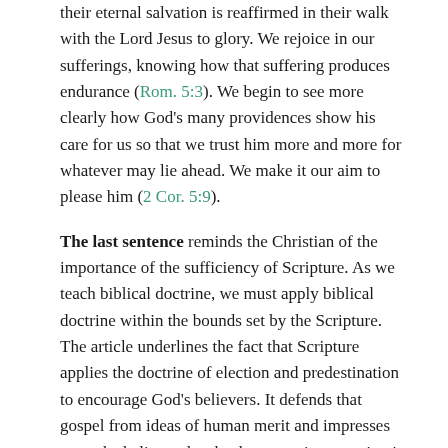their eternal salvation is reaffirmed in their walk with the Lord Jesus to glory. We rejoice in our sufferings, knowing how that suffering produces endurance (Rom. 5:3). We begin to see more clearly how God's many providences show his care for us so that we trust him more and more for whatever may lie ahead. We make it our aim to please him (2 Cor. 5:9).
The last sentence reminds the Christian of the importance of the sufficiency of Scripture. As we teach biblical doctrine, we must apply biblical doctrine within the bounds set by the Scripture. The article underlines the fact that Scripture applies the doctrine of election and predestination to encourage God's believers. It defends that gospel from ideas of human merit and impresses upon the believer the absolute security we enjoy in the gospel. It is not to be preached to all the world. Pastors must be sensitive in the preaching not to promote unhelpful speculation. We